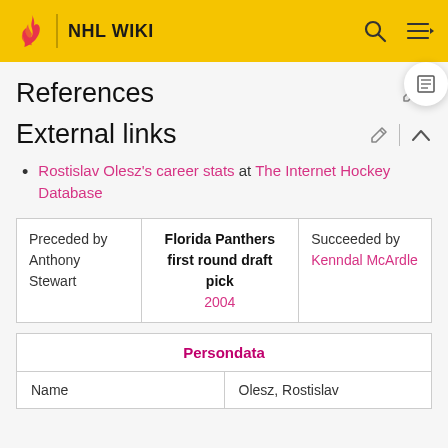NHL WIKI
References
External links
Rostislav Olesz's career stats at The Internet Hockey Database
| Preceded by | Florida Panthers first round draft pick | Succeeded by |
| --- | --- | --- |
| Anthony Stewart | 2004 | Kenndal McArdle |
| Persondata |  |
| --- | --- |
| Name | Olesz, Rostislav |